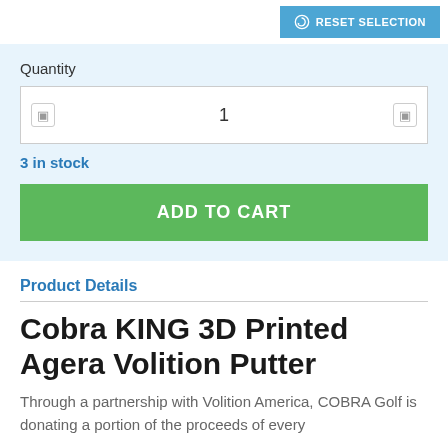RESET SELECTION
Quantity
1
3 in stock
ADD TO CART
Product Details
Cobra KING 3D Printed Agera Volition Putter
Through a partnership with Volition America, COBRA Golf is donating a portion of the proceeds of every